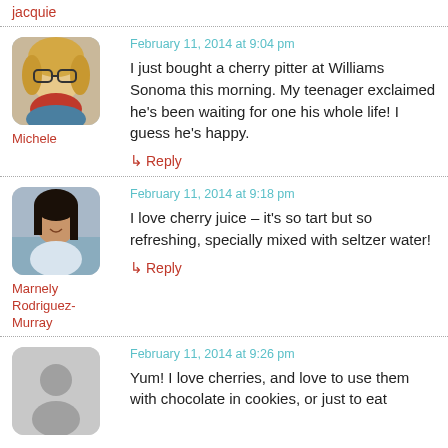jacquie
February 11, 2014 at 9:04 pm
I just bought a cherry pitter at Williams Sonoma this morning. My teenager exclaimed he’s been waiting for one his whole life! I guess he’s happy.
↳ Reply
Michele
February 11, 2014 at 9:18 pm
I love cherry juice – it’s so tart but so refreshing, specially mixed with seltzer water!
↳ Reply
Marnely Rodriguez-Murray
February 11, 2014 at 9:26 pm
Yum! I love cherries, and love to use them with chocolate in cookies, or just to eat